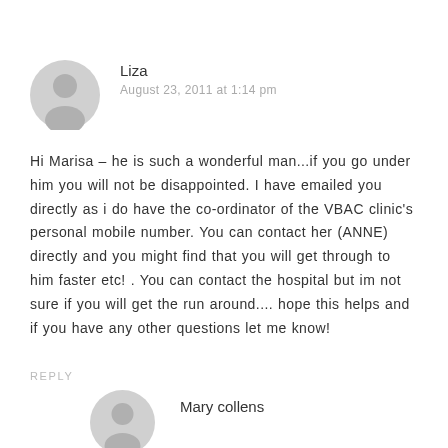Liza
August 23, 2011 at 1:14 pm
Hi Marisa – he is such a wonderful man...if you go under him you will not be disappointed. I have emailed you directly as i do have the co-ordinator of the VBAC clinic's personal mobile number. You can contact her (ANNE) directly and you might find that you will get through to him faster etc! . You can contact the hospital but im not sure if you will get the run around.... hope this helps and if you have any other questions let me know!
REPLY
Mary collens